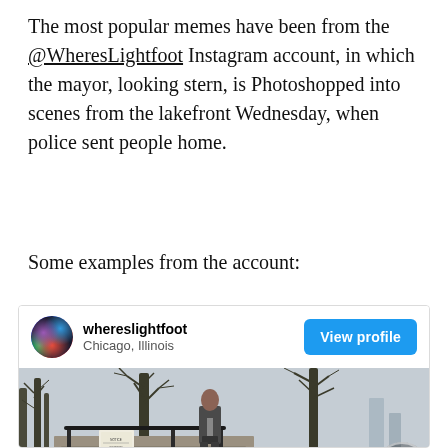The most popular memes have been from the @WheresLightfoot Instagram account, in which the mayor, looking stern, is Photoshopped into scenes from the lakefront Wednesday, when police sent people home.
Some examples from the account:
[Figure (screenshot): Instagram profile card for 'whereslightfoot' based in Chicago, Illinois, with a 'View profile' button, and a photo showing a person standing on outdoor steps near a police line tape with bare trees in the background]